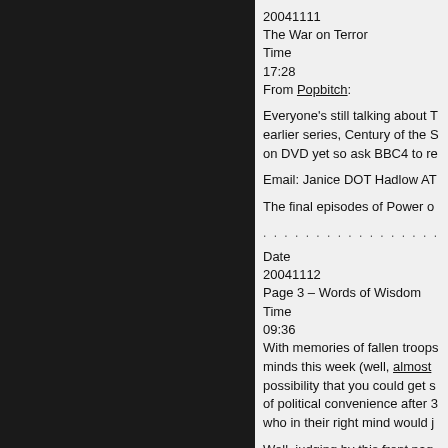20041111
The War on Terror
Time
17:28
From Popbitch:
Everyone's still talking about T earlier series, Century of the S on DVD yet so ask BBC4 to re
Email: Janice DOT Hadlow AT
The final episodes of Power o
. . . . . . . . . . . . . . . . . . . . . . .
Date
20041112
Page 3 – Words of Wisdom
Time
09:36
With memories of fallen troops minds this week (well, almost possibility that you could get s of political convenience after 3 who in their right mind would j
Well, judging by this front pag